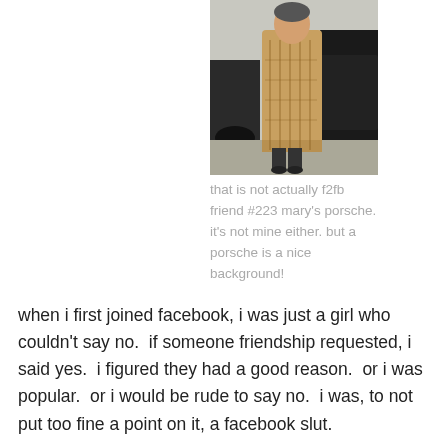[Figure (photo): A person wearing a patterned shawl/poncho standing next to a dark car on a street]
that is not actually f2fb friend #223 mary's porsche. it's not mine either. but a porsche is a nice background!
when i first joined facebook, i was just a girl who couldn't say no.  if someone friendship requested, i said yes.  i figured they had a good reason.  or i was popular.  or i would be rude to say no.  i was, to not put too fine a point on it, a facebook slut.